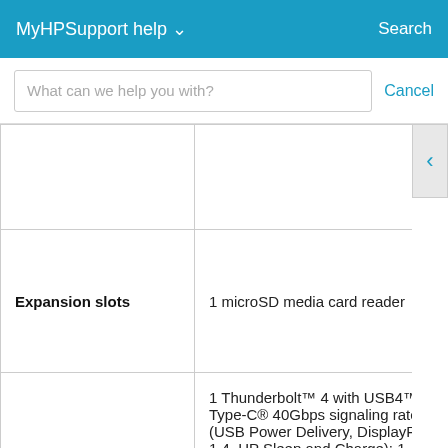MyHPSupport help  Search
What can we help you with?  Cancel
| Feature | Details |
| --- | --- |
|  |  |
| Expansion slots | 1 microSD media card reader |
| External ports | 1 Thunderbolt™ 4 with USB4™ Type-C® 40Gbps signaling rate (USB Power Delivery, DisplayPort™ 1.4, HP Sleep and Charge); 1 SuperSpeed USB Type-A 5Gbps signaling rate (HP Sleep and Charge); 1 SuperSpeed USB Type-A 5Gbps signaling rate; 1 AC smart pin; 1 headphone/microphone |